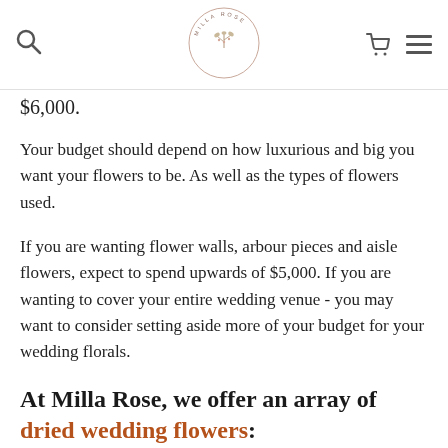Milla Rose – Search, Logo, Cart, Menu
$6,000.
Your budget should depend on how luxurious and big you want your flowers to be. As well as the types of flowers used.
If you are wanting flower walls, arbour pieces and aisle flowers, expect to spend upwards of $5,000. If you are wanting to cover your entire wedding venue - you may want to consider setting aside more of your budget for your wedding florals.
At Milla Rose, we offer an array of dried wedding flowers: